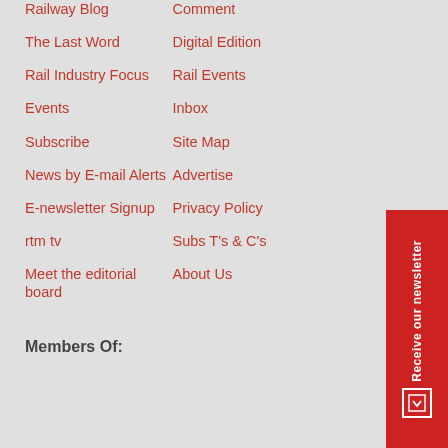Railway Blog
Comment
The Last Word
Digital Edition
Rail Industry Focus
Rail Events
Events
Inbox
Subscribe
Site Map
News by E-mail Alerts
Advertise
E-newsletter Signup
Privacy Policy
rtm tv
Subs T's & C's
Meet the editorial board
About Us
Members Of:
Receive our newsletter